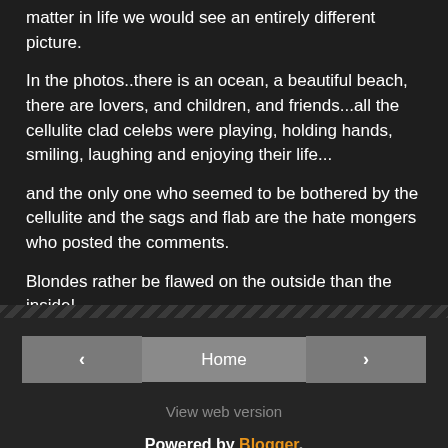matter in life we would see an entirely different picture.
In the photos..there is an ocean, a beautiful beach, there are lovers, and children, and friends...all the cellulite clad celebs were playing, holding hands, smiling, laughing and enjoying their life...
and the only one who seemed to be bothered by the cellulite and the sags and flab are the hate mongers who posted the comments.
Blondes rather be flawed on the outside than the inside!
No comments:
View web version
Powered by Blogger.